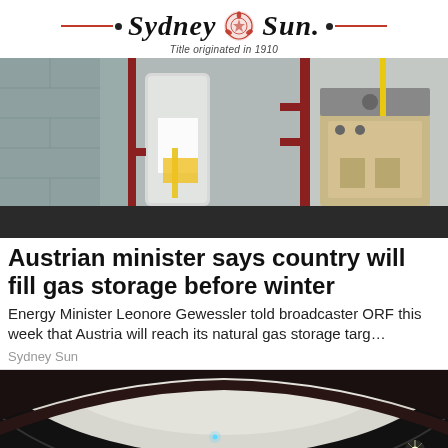Sydney Sun — Title originated in 1910
[Figure (photo): Indoor utility room showing a water heater tank with red piping on the left and a furnace/boiler unit with yellow and grey pipes on the right, against a grey wall.]
Austrian minister says country will fill gas storage before winter
Energy Minister Leonore Gewessler told broadcaster ORF this week that Austria will reach its natural gas storage targ…
Sydney Sun
[Figure (photo): Interior of a large domed theater or planetarium with dark curved ceiling and red seating visible at the bottom, with a bright light point visible on the right side.]